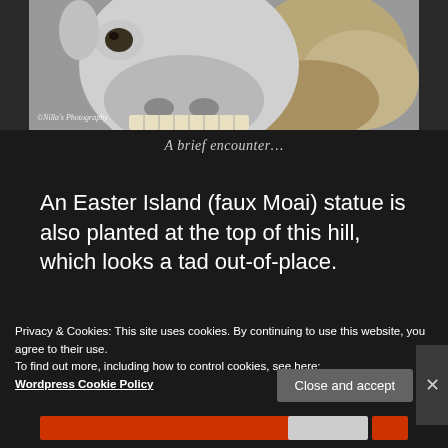[Figure (photo): Close-up photo of a goat or llama face with teeth showing, outdoors with rocky background. Watermark reads '@Nilla's Photography' in bottom left.]
A brief encounter…
An Easter Island (faux Moai) statue is also planted at the top of this hill, which looks a tad out-of-place.
Advertisements
Privacy & Cookies: This site uses cookies. By continuing to use this website, you agree to their use.
To find out more, including how to control cookies, see here:
Wordpress Cookie Policy
Close and accept